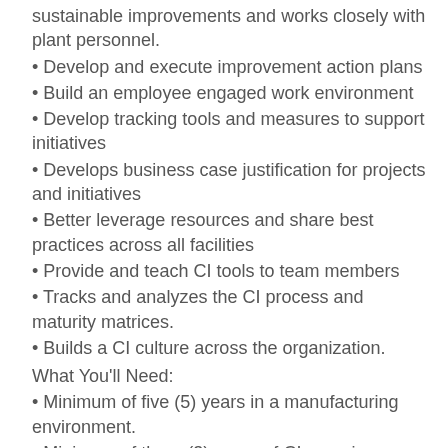sustainable improvements and works closely with plant personnel.
• Develop and execute improvement action plans
• Build an employee engaged work environment
• Develop tracking tools and measures to support initiatives
• Develops business case justification for projects and initiatives
• Better leverage resources and share best practices across all facilities
• Provide and teach CI tools to team members
• Tracks and analyzes the CI process and maturity matrices.
• Builds a CI culture across the organization.
What You'll Need:
• Minimum of five (5) years in a manufacturing environment.
• Minimum of three (3) years of CI experience, preferred.
• Possess extensive technical skills and hands-on experience in continuous improvement manufacturing activities.
• Strong application knowledge of LEAN